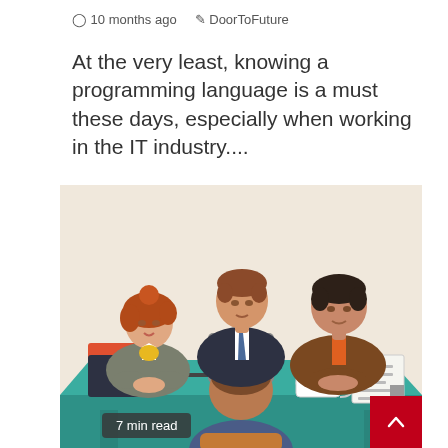10 months ago  DoorToFuture
At the very least, knowing a programming language is a must these days, especially when working in the IT industry....
[Figure (illustration): Cartoon illustration of a job interview scene: three interviewers (a woman with red hair, a man in a dark suit, and a man in a brown jacket) sitting across a teal desk from a job candidate seen from behind. Items on the desk include a red folder, a dark notebook, a tablet, a pen, a coffee cup, and papers.]
7 min read